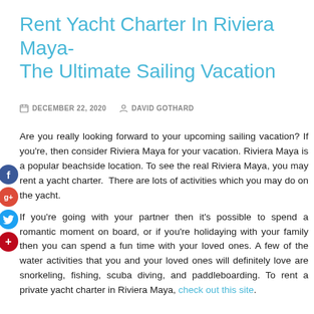Rent Yacht Charter In Riviera Maya- The Ultimate Sailing Vacation
DECEMBER 22, 2020   DAVID GOTHARD
Are you really looking forward to your upcoming sailing vacation? If you're, then consider Riviera Maya for your vacation. Riviera Maya is a popular beachside location. To see the real Riviera Maya, you may rent a yacht charter. There are lots of activities which you may do on the yacht.
If you're going with your partner then it's possible to spend a romantic moment on board, or if you're holidaying with your family then you can spend a fun time with your loved ones. A few of the water activities that you and your loved ones will definitely love are snorkeling, fishing, scuba diving, and paddleboarding. To rent a private yacht charter in Riviera Maya, check out this site.